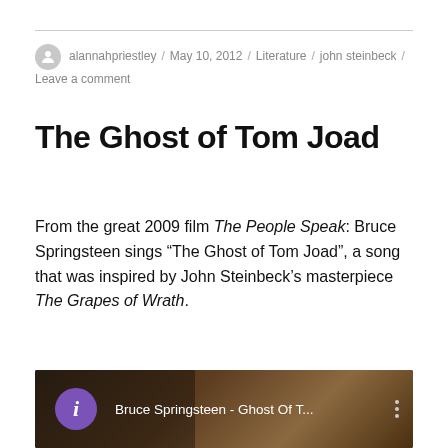alannahpriestley / May 10, 2012 / Literature / john steinbeck / Leave a comment
The Ghost of Tom Joad
From the great 2009 film The People Speak: Bruce Springsteen sings “The Ghost of Tom Joad”, a song that was inspired by John Steinbeck’s masterpiece The Grapes of Wrath.
[Figure (screenshot): Video thumbnail/player showing Bruce Springsteen - Ghost Of T... with a purple info button on the left and a three-dot menu on the right, dark background with blurred scene]